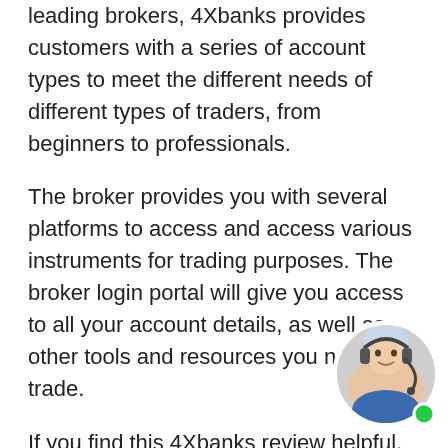leading brokers, 4Xbanks provides customers with a series of account types to meet the different needs of different types of traders, from beginners to professionals.
The broker provides you with several platforms to access and access various instruments for trading purposes. The broker login portal will give you access to all your account details, as well as other tools and resources you need to trade.
If you find this 4Xbanks review helpful, be sure to share it with your loved ones so they don't fall into this type of scam. If you encounter the next one on 4Xbanks, you are likely to be scammed or involved in a scam. Due to lack of information and unregulated 4Xbanks, funds are not safe. According to reports...
[Figure (photo): Customer support chat widget showing a woman wearing a headset, with a green online indicator dot in the bottom right corner.]